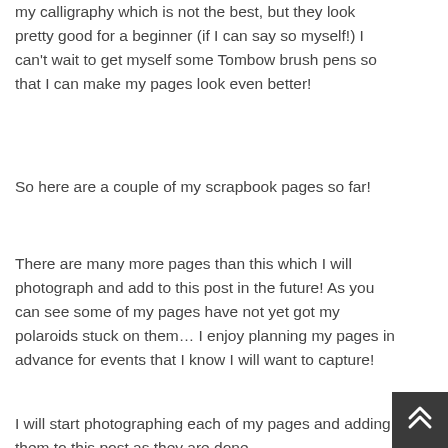my calligraphy which is not the best, but they look pretty good for a beginner (if I can say so myself!) I can't wait to get myself some Tombow brush pens so that I can make my pages look even better!
So here are a couple of my scrapbook pages so far!
There are many more pages than this which I will photograph and add to this post in the future! As you can see some of my pages have not yet got my polaroids stuck on them… I enjoy planning my pages in advance for events that I know I will want to capture!
I will start photographing each of my pages and adding them to this post as they are done.
[Figure (other): Back to top button — dark grey square with double upward chevron icon]